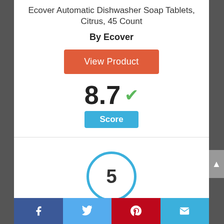Ecover Automatic Dishwasher Soap Tablets, Citrus, 45 Count
By Ecover
View Product
8.7 Score
[Figure (other): Circle badge showing the number 5]
Facebook | Twitter | Pinterest | Email